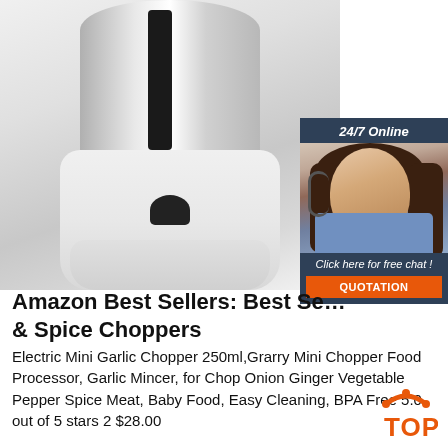[Figure (photo): Electric mini food chopper/garlic chopper appliance with silver cylindrical motor head and white base, partially shown from below]
[Figure (photo): 24/7 online customer support chat widget with woman wearing headset, dark blue background, orange QUOTATION button]
Amazon Best Sellers: Best Se… & Spice Choppers
Electric Mini Garlic Chopper 250ml,Grarry Mini Chopper Food Processor, Garlic Mincer, for Chop Onion Ginger Vegetable Pepper Spice Meat, Baby Food, Easy Cleaning, BPA Free 5.0 out of 5 stars 2 $28.00